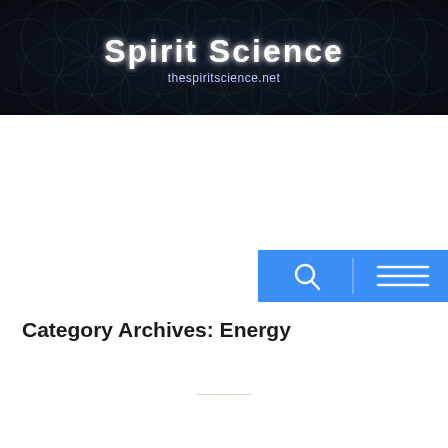[Figure (logo): Spirit Science website header banner with dark background featuring Flower of Life geometric pattern and glowing 'Spirit Science' text with 'thespiritscience.net' subtitle]
[Figure (screenshot): Blue navigation bar with search icon (magnifying glass) and hamburger menu icon on the right side]
Category Archives: Energy
[Figure (other): Horizontal divider line, dark on left and right with a brown/orange accent in the center]